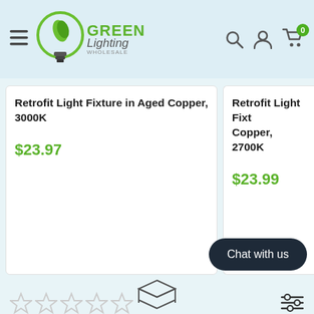Green Lighting — navigation header
Retrofit Light Fixture in Aged Copper, 3000K
$23.97
Retrofit Light Fixture in Aged Copper, 2700K
$23.99
Write a review
Chat with us
Be the first to write a review